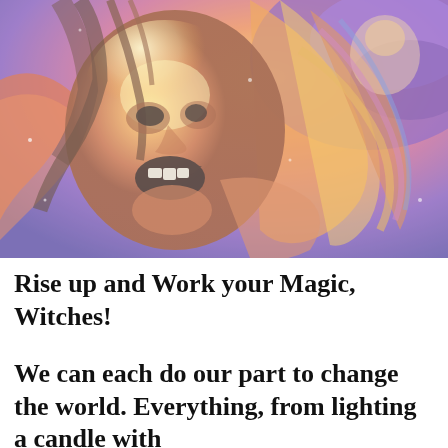[Figure (illustration): A colorful, vibrant painting of a screaming or ecstatic woman with flowing hair, rendered in swirling orange, red, yellow, purple, and blue tones. The style is expressive and psychedelic, with the figure appearing against a cosmic, swirling background.]
Rise up and Work your Magic, Witches!
We can each do our part to change the world. Everything, from lighting a candle with